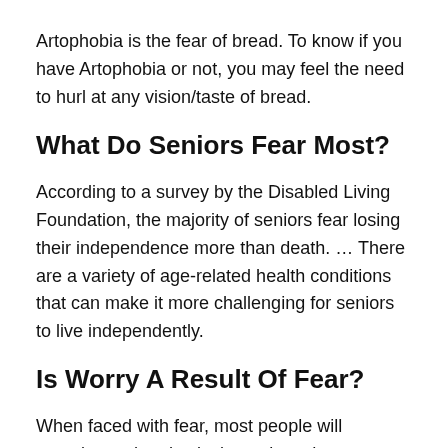Artophobia is the fear of bread. To know if you have Artophobia or not, you may feel the need to hurl at any vision/taste of bread.
What Do Seniors Fear Most?
According to a survey by the Disabled Living Foundation, the majority of seniors fear losing their independence more than death. … There are a variety of age-related health conditions that can make it more challenging for seniors to live independently.
Is Worry A Result Of Fear?
When faced with fear, most people will experience the physical reactions that are described under anxiety. Fear can cause anxiety and anxiety can cause fear. But the